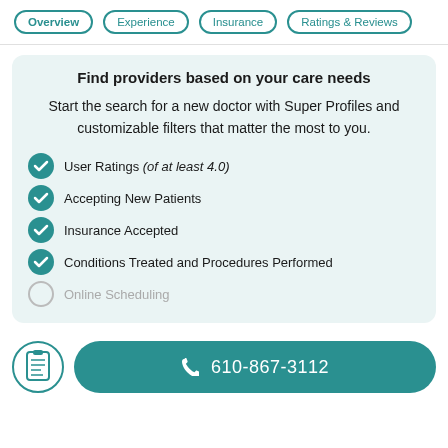Overview | Experience | Insurance | Ratings & Reviews
Find providers based on your care needs
Start the search for a new doctor with Super Profiles and customizable filters that matter the most to you.
User Ratings (of at least 4.0)
Accepting New Patients
Insurance Accepted
Conditions Treated and Procedures Performed
Online Scheduling
610-867-3112